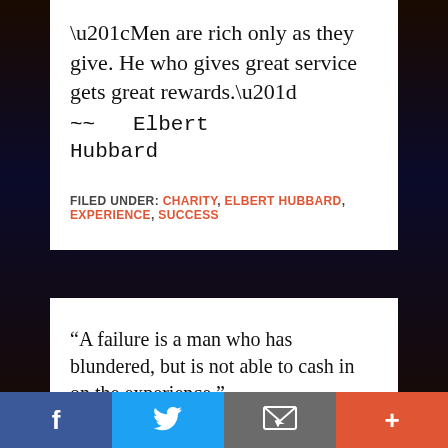“Men are rich only as they give. He who gives great service gets great rewards.” ~~ Elbert Hubbard
FILED UNDER: CHARITY, ELBERT HUBBARD, EXPERIENCE, SUCCESS
“A failure is a man who has blundered, but is not able to cash in on the experience.” ~~ Elbert Hubbard
f  [twitter bird]  [envelope]  +